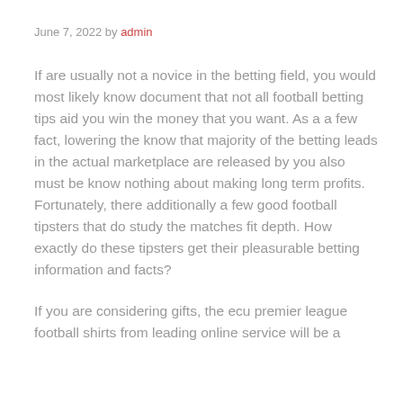June 7, 2022 by admin
If are usually not a novice in the betting field, you would most likely know document that not all football betting tips aid you win the money that you want. As a a few fact, lowering the know that majority of the betting leads in the actual marketplace are released by you also must be know nothing about making long term profits. Fortunately, there additionally a few good football tipsters that do study the matches fit depth. How exactly do these tipsters get their pleasurable betting information and facts?
If you are considering gifts, the ecu premier league football shirts from leading online service will be a